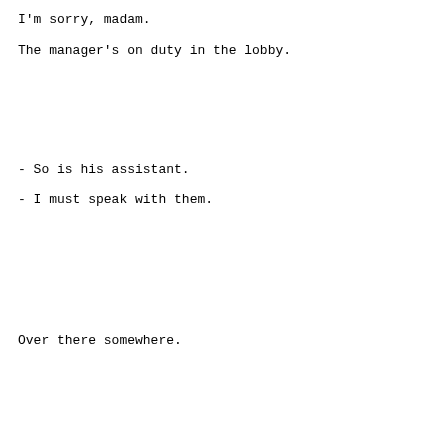I'm sorry, madam.
The manager's on duty in the lobby.
- So is his assistant.
- I must speak with them.
Over there somewhere.
You have a very nice